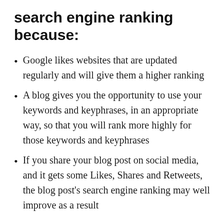search engine ranking because:
Google likes websites that are updated regularly and will give them a higher ranking
A blog gives you the opportunity to use your keywords and keyphrases, in an appropriate way, so that you will rank more highly for those keywords and keyphrases
If you share your blog post on social media, and it gets some Likes, Shares and Retweets, the blog post's search engine ranking may well improve as a result